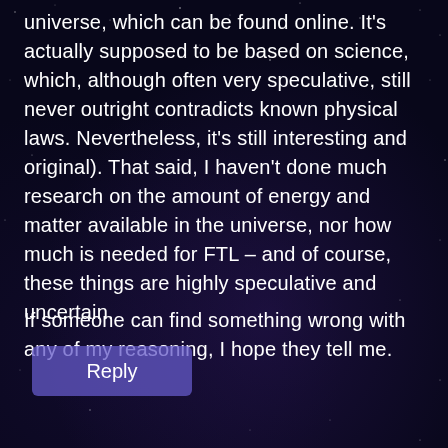universe, which can be found online. It’s actually supposed to be based on science, which, although often very speculative, still never outright contradicts known physical laws. Nevertheless, it’s still interesting and original). That said, I haven’t done much research on the amount of energy and matter available in the universe, nor how much is needed for FTL – and of course, these things are highly speculative and uncertain.
If someone can find something wrong with any of my reasoning, I hope they tell me.
[Figure (other): A purple-tinted Reply button with rounded corners on a dark starry background]